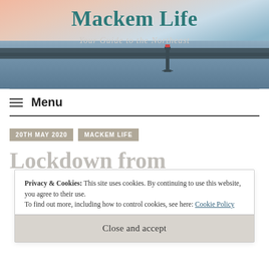[Figure (photo): Mackem Life website header banner showing a coastal scene with a lighthouse at sunset/dusk. The sky has pink and orange tones. The site title 'Mackem Life' appears in teal/dark cyan serif font at the top, with the subtitle 'Your Guide to the Northeast' in italic below it.]
Menu
20TH MAY 2020   MACKEM LIFE
Lockdown from
Privacy & Cookies: This site uses cookies. By continuing to use this website, you agree to their use.
To find out more, including how to control cookies, see here: Cookie Policy
Close and accept